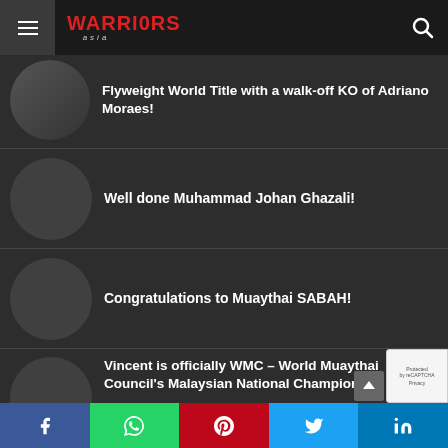Warriors Asia - navigation bar with logo
Flyweight World Title with a walk-off KO of Adriano Moraes!
Well done Muhammad Johan Ghazali!
Congratulations to Muaythai SABAH!
Vincent is officially WMC – World Muaythai Council's Malaysian National Champion
Share buttons: Facebook, WhatsApp, Pinterest, Twitter, LinkedIn